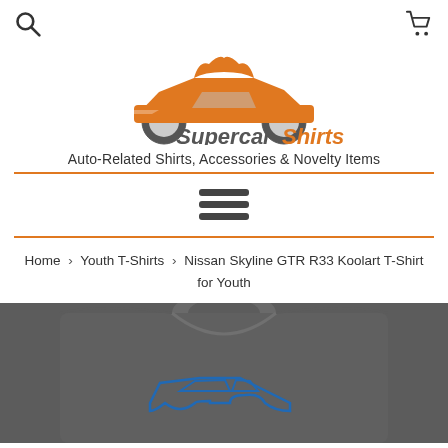[Figure (logo): Search icon (magnifying glass) in top left corner]
[Figure (logo): Shopping cart icon in top right corner]
[Figure (logo): SupercarShirts logo — orange sports car with t-shirt shape on top, text 'SupercarShirts' below in grey and orange bold italic]
Auto-Related Shirts, Accessories & Novelty Items
[Figure (other): Hamburger menu icon (three horizontal bars)]
Home › Youth T-Shirts › Nissan Skyline GTR R33 Koolart T-Shirt for Youth
[Figure (photo): Dark grey/charcoal youth t-shirt with blue car graphic (Nissan Skyline GTR R33), shown from front, cropped at bottom]